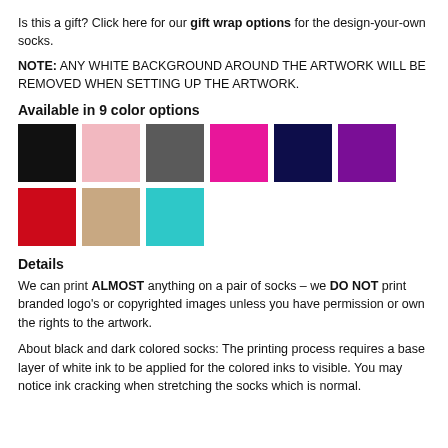Is this a gift? Click here for our gift wrap options for the design-your-own socks.
NOTE: ANY WHITE BACKGROUND AROUND THE ARTWORK WILL BE REMOVED WHEN SETTING UP THE ARTWORK.
Available in 9 color options
[Figure (other): Nine color swatches: black, pink, dark gray, magenta/hot pink, navy, purple, red, tan/beige, teal/cyan]
Details
We can print ALMOST anything on a pair of socks – we DO NOT print branded logo's or copyrighted images unless you have permission or own the rights to the artwork.
About black and dark colored socks:  The printing process requires a base layer of white ink to be applied for the colored inks to visible.  You may notice ink cracking when stretching the socks which is normal.